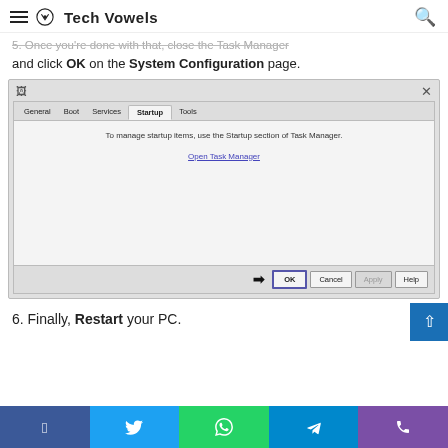Tech Vowels
5. Once you're done with that, close the Task Manager and click OK on the System Configuration page.
[Figure (screenshot): Windows System Configuration dialog showing Startup tab with message 'To manage startup items, use the Startup section of Task Manager.' and 'Open Task Manager' link. An arrow points to the OK button at the bottom. Buttons: OK, Cancel, Apply, Help.]
6. Finally, Restart your PC.